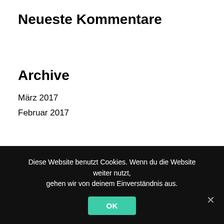Neueste Kommentare
Archive
März 2017
Februar 2017
Kategorien
creative
css
Diese Website benutzt Cookies. Wenn du die Website weiter nutzt, gehen wir von deinem Einverständnis aus.
OK